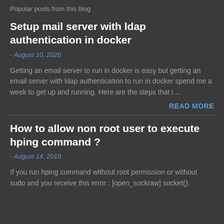Popular posts from this blog
Setup mail server with ldap authentication in docker
- August 10, 2020
Getting an email server to run in docker is easy but getting an email server with ldap authentication to run in docker spend me a week to get up and running. Here are the steps that i ...
READ MORE
How to allow non root user to execute hping command ?
- August 14, 2019
If you run hping command without root permission or without sudo and you receive this error : [open_sockraw] socket():